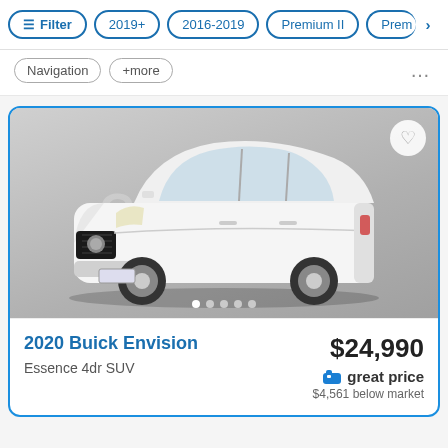Filter | 2019+ | 2016-2019 | Premium II | Prem›
Navigation  +more  ...
[Figure (photo): White 2020 Buick Envision SUV photographed from front-left angle in studio setting with grey background and CARVANA watermark]
2020 Buick Envision
Essence 4dr SUV
$24,990
great price
$4,561 below market